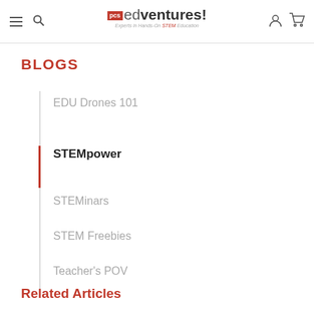PCS EDventures! Experts in Hands-On STEM Education
BLOGS
EDU Drones 101
STEMpower
STEMinars
STEM Freebies
Teacher's POV
Related Articles